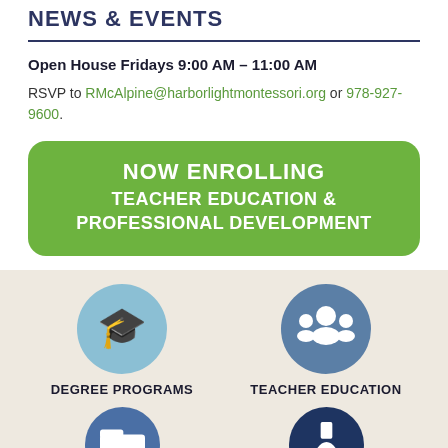NEWS & EVENTS
Open House Fridays 9:00 AM – 11:00 AM
RSVP to RMcAlpine@harborlightmontessori.org or 978-927-9600.
NOW ENROLLING TEACHER EDUCATION & PROFESSIONAL DEVELOPMENT
[Figure (infographic): Four circular icons for Degree Programs, Teacher Education, and two more partially visible icons below, on a beige background]
DEGREE PROGRAMS
TEACHER EDUCATION